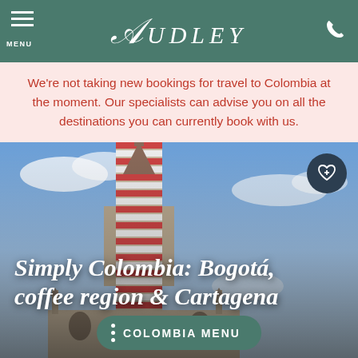MENU | AUDLEY | (phone)
We're not taking new bookings for travel to Colombia at the moment. Our specialists can advise you on all the destinations you can currently book with us.
[Figure (photo): Ornate tower of a Colombian church (likely Las Lajas or similar), with striped red and white stonework against a blue sky backdrop. Hero image for Simply Colombia: Bogotá, coffee region & Cartagena tour.]
Simply Colombia: Bogotá, coffee region & Cartagena